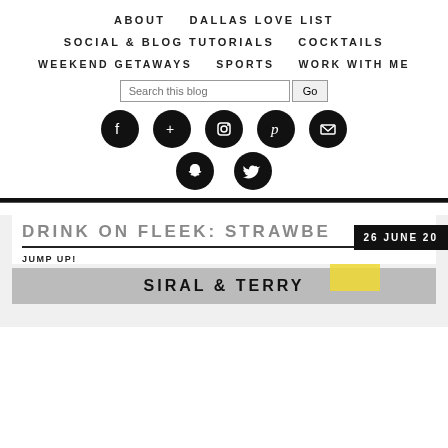ABOUT | DALLAS LOVE LIST | SOCIAL & BLOG TUTORIALS | COCKTAILS | WEEKEND GETAWAYS | SPORTS | WORK WITH ME
[Figure (screenshot): Blog navigation header with social media icons (Facebook, Google+, Instagram, Pinterest, Email, Snapchat, Twitter) and a search bar]
DRINK ON FLEEK: STRAWBE
JUMP UP!
26 JUNE 20
[Figure (photo): Thumbnail image at bottom with stylized text]